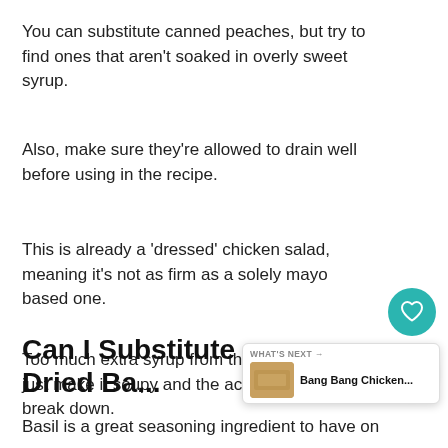You can substitute canned peaches, but try to find ones that aren't soaked in overly sweet syrup.
Also, make sure they're allowed to drain well before using in the recipe.
This is already a ‘dressed’ chicken salad, meaning it's not as firm as a solely mayo based one.
Too much extra syrup from the canned fruit will just make it soupy and the actual dressing will break down.
Can I Substitute Dried Ba...
Basil is a great seasoning ingredient to have on